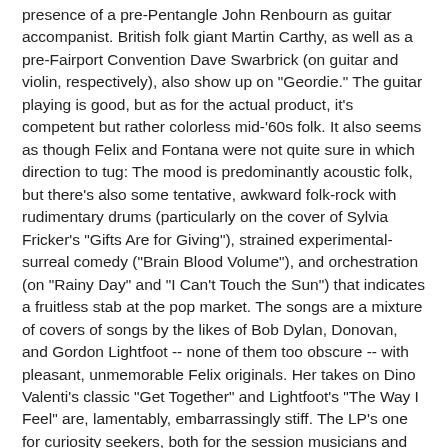presence of a pre-Pentangle John Renbourn as guitar accompanist. British folk giant Martin Carthy, as well as a pre-Fairport Convention Dave Swarbrick (on guitar and violin, respectively), also show up on "Geordie." The guitar playing is good, but as for the actual product, it's competent but rather colorless mid-'60s folk. It also seems as though Felix and Fontana were not quite sure in which direction to tug: The mood is predominantly acoustic folk, but there's also some tentative, awkward folk-rock with rudimentary drums (particularly on the cover of Sylvia Fricker's "Gifts Are for Giving"), strained experimental-surreal comedy ("Brain Blood Volume"), and orchestration (on "Rainy Day" and "I Can't Touch the Sun") that indicates a fruitless stab at the pop market. The songs are a mixture of covers of songs by the likes of Bob Dylan, Donovan, and Gordon Lightfoot -- none of them too obscure -- with pleasant, unmemorable Felix originals. Her takes on Dino Valenti's classic "Get Together" and Lightfoot's "The Way I Feel" are, lamentably, embarrassingly stiff. The LP's one for curiosity seekers, both for the session musicians and for an illustration of a '60s folky unable to make a smooth transition into more progressive sounds and arrangements.